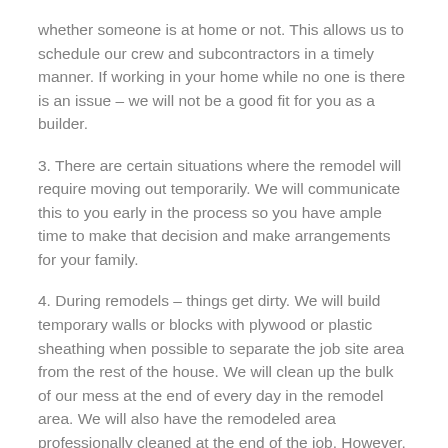whether someone is at home or not. This allows us to schedule our crew and subcontractors in a timely manner. If working in your home while no one is there is an issue – we will not be a good fit for you as a builder.
3. There are certain situations where the remodel will require moving out temporarily. We will communicate this to you early in the process so you have ample time to make that decision and make arrangements for your family.
4. During remodels – things get dirty. We will build temporary walls or blocks with plywood or plastic sheathing when possible to separate the job site area from the rest of the house. We will clean up the bulk of our mess at the end of every day in the remodel area. We will also have the remodeled area professionally cleaned at the end of the job. However, you can expect a great amount of dust in the rest of the home throughout the job. Also, when we are done and have the remodeled area professionally cleaned – please know that the